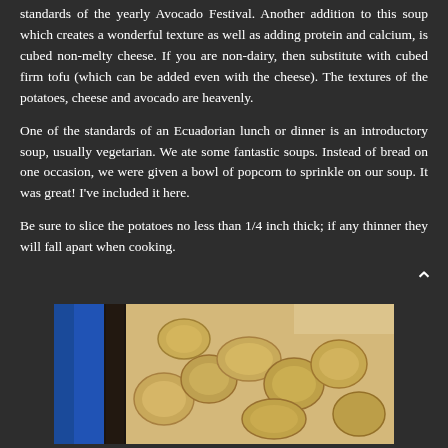standards of the yearly Avocado Festival. Another addition to this soup which creates a wonderful texture as well as adding protein and calcium, is cubed non-melty cheese. If you are non-dairy, then substitute with cubed firm tofu (which can be added even with the cheese). The textures of the potatoes, cheese and avocado are heavenly.
One of the standards of an Ecuadorian lunch or dinner is an introductory soup, usually vegetarian. We ate some fantastic soups. Instead of bread on one occasion, we were given a bowl of popcorn to sprinkle on our soup. It was great! I've included it here.
Be sure to slice the potatoes no less than 1/4 inch thick; if any thinner they will fall apart when cooking.
[Figure (photo): Photo of sliced potatoes and vegetables in a bowl or cutting board, with a dark knife handle visible on the left side. Background includes blue and cream colored items.]